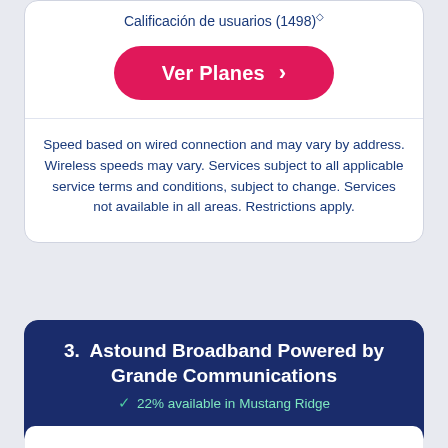Calificación de usuarios (1498)◇
[Figure (other): Pink rounded button with text 'Ver Planes ›']
Speed based on wired connection and may vary by address. Wireless speeds may vary. Services subject to all applicable service terms and conditions, subject to change. Services not available in all areas. Restrictions apply.
3. Astound Broadband Powered by Grande Communications
✓ 22% available in Mustang Ridge